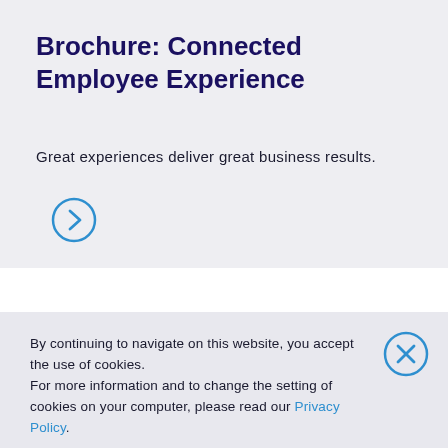Brochure: Connected Employee Experience
Great experiences deliver great business results.
[Figure (other): Circular arrow/chevron right button icon in teal/blue outline style]
By continuing to navigate on this website, you accept the use of cookies.
For more information and to change the setting of cookies on your computer, please read our Privacy Policy.
[Figure (other): Close (X) button icon in teal/blue circle outline style]